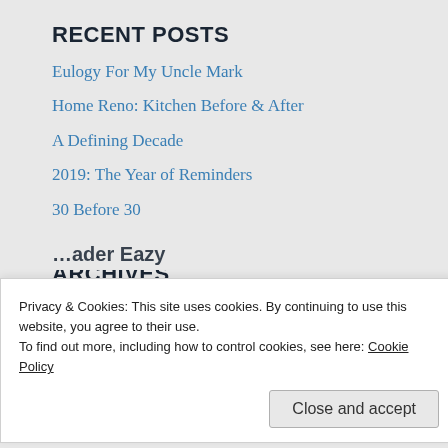RECENT POSTS
Eulogy For My Uncle Mark
Home Reno: Kitchen Before & After
A Defining Decade
2019: The Year of Reminders
30 Before 30
ARCHIVES
June 2021
July 2020
January 2020
December 2019
Privacy & Cookies: This site uses cookies. By continuing to use this website, you agree to their use.
To find out more, including how to control cookies, see here: Cookie Policy
Close and accept